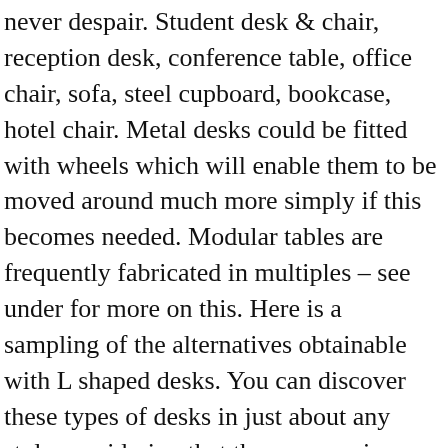never despair. Student desk & chair, reception desk, conference table, office chair, sofa, steel cupboard, bookcase, hotel chair. Metal desks could be fitted with wheels which will enable them to be moved around much more simply if this becomes needed. Modular tables are frequently fabricated in multiples – see under for more on this. Here is a sampling of the alternatives obtainable with L shaped desks. You can discover these types of desks in just about any style considering that the ergonomic functions deal mostly with the placement of keyboards and mice. UPLIFT Desks are equipped with 3-stage legs with a massive vertical range to allow frequent sit-stand transitions throughout every day. Even so, a good corner writing desk is frequently an L-shaped desk, which can efficiently use up an entire corner while delivering a top of open desk space for whatever your certain